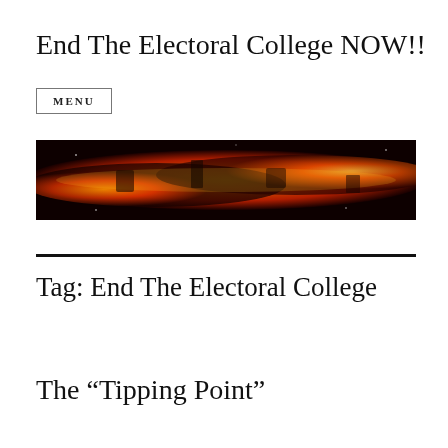End The Electoral College NOW!!
MENU
[Figure (photo): A wide panoramic image showing a fiery nebula or galaxy in shades of red, orange, and yellow against a dark background, resembling the Milky Way galactic center in infrared.]
Tag: End The Electoral College
The “Tipping Point”